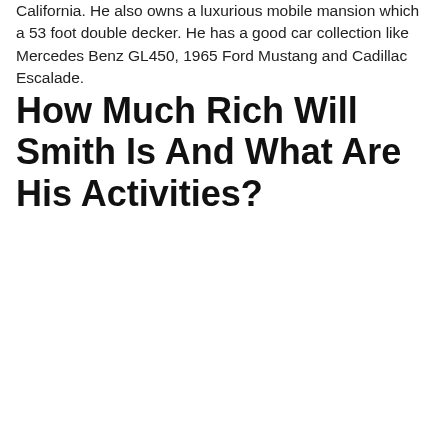California. He also owns a luxurious mobile mansion which a 53 foot double decker. He has a good car collection like Mercedes Benz GL450, 1965 Ford Mustang and Cadillac Escalade.
How Much Rich Will Smith Is And What Are His Activities?